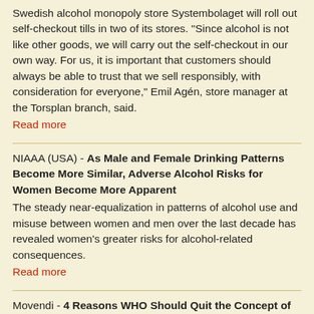Swedish alcohol monopoly store Systembolaget will roll out self-checkout tills in two of its stores. "Since alcohol is not like other goods, we will carry out the self-checkout in our own way. For us, it is important that customers should always be able to trust that we sell responsibly, with consideration for everyone," Emil Agén, store manager at the Torsplan branch, said.
Read more
NIAAA (USA) - As Male and Female Drinking Patterns Become More Similar, Adverse Alcohol Risks for Women Become More Apparent
The steady near-equalization in patterns of alcohol use and misuse between women and men over the last decade has revealed women's greater risks for alcohol-related consequences.
Read more
Movendi - 4 Reasons WHO Should Quit the Concept of 'Harmful Use of Alcohol'
Discussing about and doing something about alcohol harms is very important. But in this conversation and work, flawed